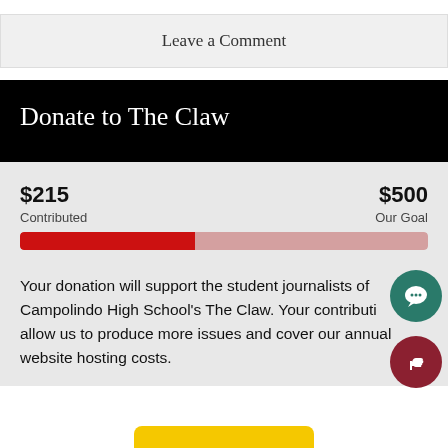Leave a Comment
Donate to The Claw
[Figure (infographic): Donation progress bar showing $215 contributed out of $500 goal, approximately 43% filled. Red filled portion on left, pink unfilled portion on right.]
Your donation will support the student journalists of Campolindo High School's The Claw. Your contribution will allow us to produce more issues and cover our annual website hosting costs.